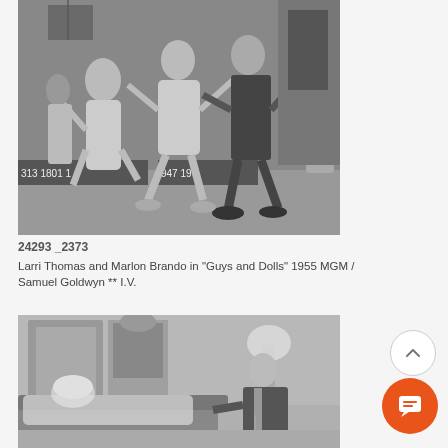[Figure (photo): Black and white photo of a dance scene with multiple people, including a man in dark clothes and a woman in light dress, dancing energetically in what appears to be an indoor venue with number signs in background.]
24293 _2373
Larri Thomas and Marlon Brando in "Guys and Dolls" 1955 MGM / Samuel Goldwyn ** I.V.
[Figure (photo): Black and white photo of a man in a suit sitting and a woman lying on a sofa or bed in an elegant room setting.]